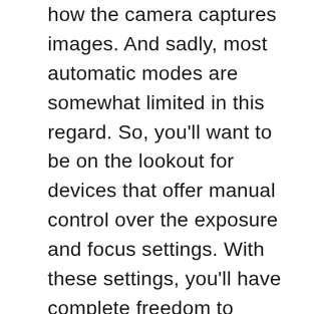how the camera captures images. And sadly, most automatic modes are somewhat limited in this regard. So, you'll want to be on the lookout for devices that offer manual control over the exposure and focus settings. With these settings, you'll have complete freedom to capture any image you want. And you'll be able to do so without any artificial limitations. But careful not to look for unnecessarily complicated options, as you'll inevitably have more factors to juggle while